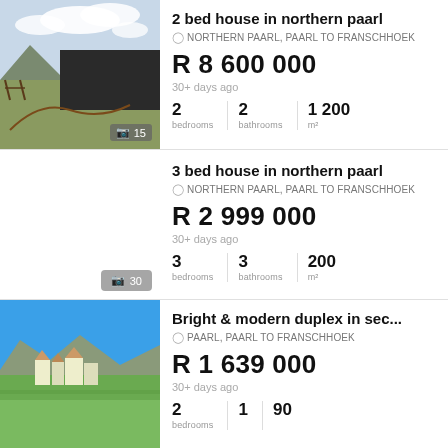[Figure (photo): Farm property photo showing a fenced field with mountains and cloudy sky, 15 photos]
2 bed house in northern paarl
NORTHERN PAARL, PAARL TO FRANSCHHOEK
R 8 600 000
30+ days ago
2 bedrooms | 2 bathrooms | 1 200 m²
3 bed house in northern paarl
NORTHERN PAARL, PAARL TO FRANSCHHOEK
R 2 999 000
30+ days ago
3 bedrooms | 3 bathrooms | 200 m²
[Figure (photo): Bright suburban area with mountains and blue sky, 30 photos]
Bright & modern duplex in sec...
PAARL, PAARL TO FRANSCHHOEK
R 1 639 000
30+ days ago
2 bedrooms | 1 bathrooms | 90 m²